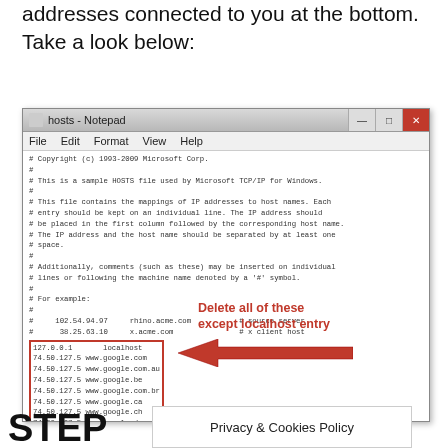addresses connected to you at the bottom. Take a look below:
[Figure (screenshot): Windows Notepad showing a HOSTS file with entries including localhost and multiple 74.50.127.5 google domain entries highlighted in a red box. Annotation reads 'Delete all of these except localhost entry' with a red arrow pointing left.]
STEP
Privacy & Cookies Policy